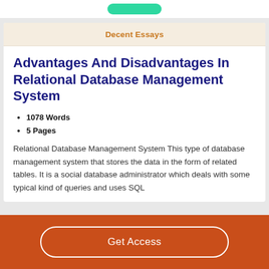Decent Essays
Advantages And Disadvantages In Relational Database Management System
1078 Words
5 Pages
Relational Database Management System This type of database management system that stores the data in the form of related tables. It is a social database administrator which deals with some typical kind of queries and uses SQL
Get Access